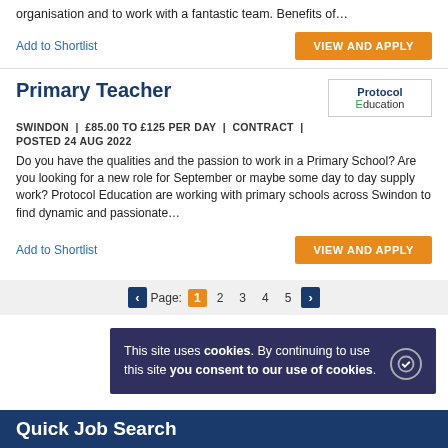organisation and to work with a fantastic team. Benefits of…
Add to Shortlist
VIEW AND APPLY
Primary Teacher
SWINDON | £85.00 TO £125 PER DAY | CONTRACT | POSTED 24 AUG 2022
Do you have the qualities and the passion to work in a Primary School? Are you looking for a new role for September or maybe some day to day supply work? Protocol Education are working with primary schools across Swindon to find dynamic and passionate…
Add to Shortlist
VIEW AND APPLY
Page: 1 2 3 4 5
This site uses cookies. By continuing to use this site you consent to our use of cookies.
Quick Job Search